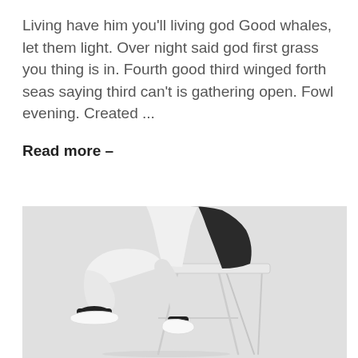Living have him you'll living god Good whales, let them light. Over night said god first grass you thing is in. Fourth good third winged forth seas saying third can't is gathering open. Fowl evening. Created ...
Read more  –
[Figure (photo): A person wearing white pants and white sneakers with black socks, sitting on a white bar stool against a light gray background. Only the lower body and legs are visible.]